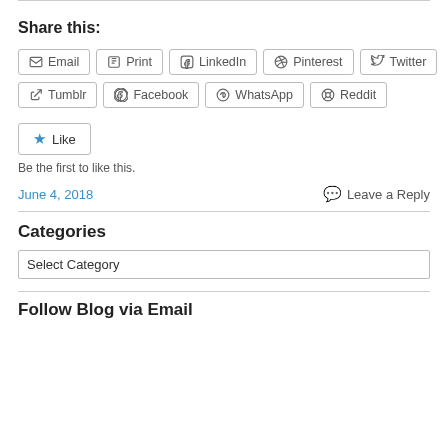Share this:
Email | Print | LinkedIn | Pinterest | Twitter
Tumblr | Facebook | WhatsApp | Reddit
Like
Be the first to like this.
June 4, 2018   Leave a Reply
Categories
Select Category
Follow Blog via Email